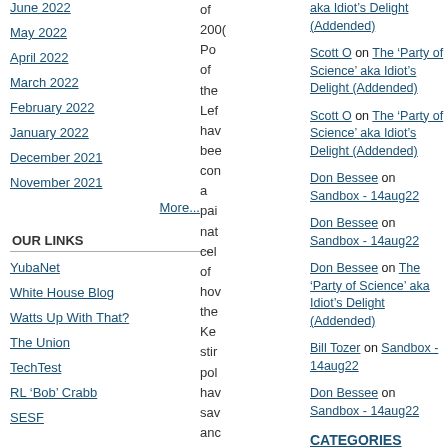June 2022
May 2022
April 2022
March 2022
February 2022
January 2022
December 2021
November 2021
More...
OUR LINKS
YubaNet
White House Blog
Watts Up With That?
The Union
TechTest
RL 'Bob' Crabb
SESF
of 200( Po of the Lef hav bee con a pai nat cel of hov the Ke stir pol hav sav anc the
aka Idiot's Delight (Addended)
Scott O on The 'Party of Science' aka Idiot's Delight (Addended)
Scott O on The 'Party of Science' aka Idiot's Delight (Addended)
Don Bessee on Sandbox - 14aug22
Don Bessee on Sandbox - 14aug22
Don Bessee on The 'Party of Science' aka Idiot's Delight (Addended)
Bill Tozer on Sandbox - 14aug22
Don Bessee on Sandbox - 14aug22
CATEGORIES
Agenda 21 (466)
Books & Media (30)
California (358)
Comment Sandbox (413)
Critical Thinking & Numeracy (1228)
Culture Comments (718)
Current Affairs (1742)